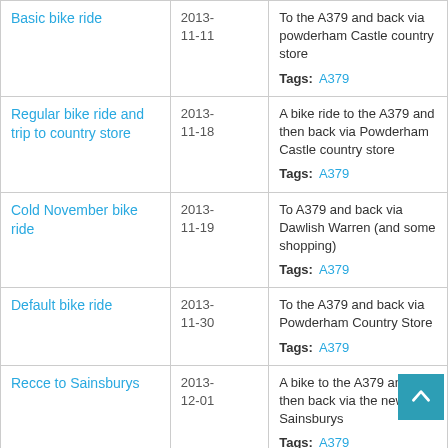| Title | Date | Description |
| --- | --- | --- |
| Basic bike ride | 2013-11-11 | To the A379 and back via powderham Castle country store
Tags: A379 |
| Regular bike ride and trip to country store | 2013-11-18 | A bike ride to the A379 and then back via Powderham Castle country store
Tags: A379 |
| Cold November bike ride | 2013-11-19 | To A379 and back via Dawlish Warren (and some shopping)
Tags: A379 |
| Default bike ride | 2013-11-30 | To the A379 and back via Powderham Country Store
Tags: A379 |
| Recce to Sainsburys | 2013-12-01 | A bike to the A379 and then back via the new Sainsburys
Tags: A379 |
| Time and | 2013- | Bike ride to A379 and back |